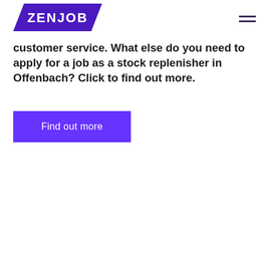ZENJOB
customer service. What else do you need to apply for a job as a stock replenisher in Offenbach? Click to find out more.
Find out more